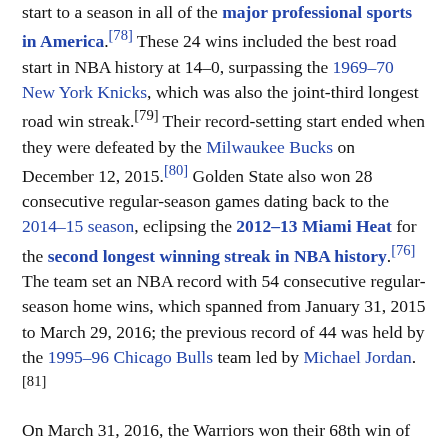start to a season in all of the major professional sports in America.[78] These 24 wins included the best road start in NBA history at 14–0, surpassing the 1969–70 New York Knicks, which was also the joint-third longest road win streak.[79] Their record-setting start ended when they were defeated by the Milwaukee Bucks on December 12, 2015.[80] Golden State also won 28 consecutive regular-season games dating back to the 2014–15 season, eclipsing the 2012–13 Miami Heat for the second longest winning streak in NBA history.[76] The team set an NBA record with 54 consecutive regular-season home wins, which spanned from January 31, 2015 to March 29, 2016; the previous record of 44 was held by the 1995–96 Chicago Bulls team led by Michael Jordan.[81]
On March 31, 2016, the Warriors won their 68th win of the season in an overtime game over the Utah Jazz, breaking the franchise record for